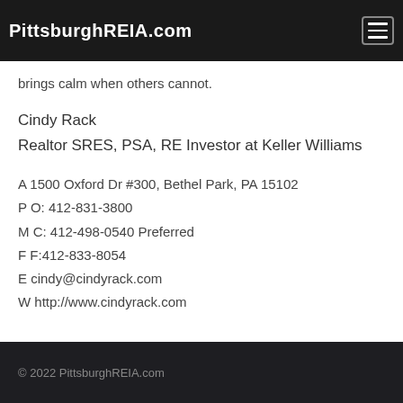PittsburghREIA.com
brings calm when others cannot.
Cindy Rack
Realtor SRES, PSA, RE Investor at Keller Williams
A 1500 Oxford Dr #300, Bethel Park, PA 15102
P O: 412-831-3800
M C: 412-498-0540 Preferred
F F:412-833-8054
E cindy@cindyrack.com
W http://www.cindyrack.com
© 2022 PittsburghREIA.com